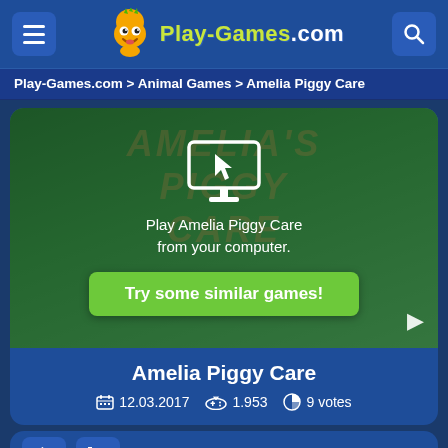Play-Games.com
Play-Games.com > Animal Games > Amelia Piggy Care
[Figure (screenshot): Amelia Piggy Care game screenshot showing a pig character with a young girl in a barn-style setting with game title text overlay, a computer monitor icon, 'Play Amelia Piggy Care from your computer.' text, and a green 'Try some similar games!' button]
Amelia Piggy Care
12.03.2017  1.953  9 votes
56% likes  44% dislikes